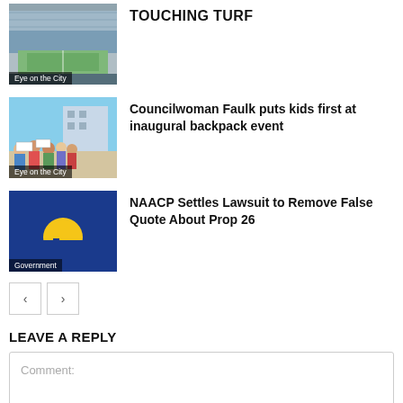[Figure (photo): Stadium image with 'Eye on the City' label overlay]
TOUCHING TURF
[Figure (photo): Group of people outdoors with 'Eye on the City' label overlay]
Councilwoman Faulk puts kids first at inaugural backpack event
[Figure (logo): Blue background with yellow sun/city skyline logo and 'Government' label]
NAACP Settles Lawsuit to Remove False Quote About Prop 26
< (previous page button)
> (next page button)
LEAVE A REPLY
Comment: